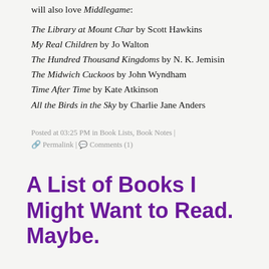will also love Middlegame:
The Library at Mount Char by Scott Hawkins
My Real Children by Jo Walton
The Hundred Thousand Kingdoms by N. K. Jemisin
The Midwich Cuckoos by John Wyndham
Time After Time by Kate Atkinson
All the Birds in the Sky by Charlie Jane Anders
Posted at 03:25 PM in Book Lists, Book Notes | Permalink | Comments (1)
A List of Books I Might Want to Read. Maybe.